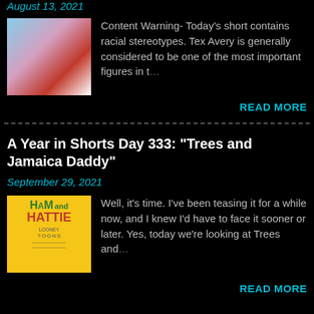August 13, 2021
[Figure (illustration): Cartoon illustration of a Native American woman in a red dress in a snowy landscape]
Content Warning- Today's short contains racial stereotypes. Tex Avery is generally considered to be one of the most important figures in t…
READ MORE
A Year in Shorts Day 333: "Trees and Jamaica Daddy"
September 29, 2021
[Figure (illustration): Yellow movie poster for Ham and Hattie animated short]
Well, it's time. I've been teasing it for a while now, and I knew I'd have to face it sooner or later. Yes, today we're looking at Trees and…
READ MORE